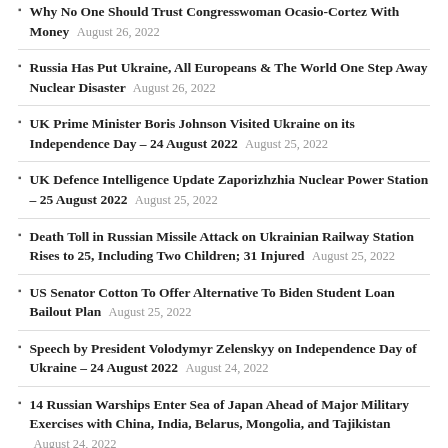Why No One Should Trust Congresswoman Ocasio-Cortez With Money August 26, 2022
Russia Has Put Ukraine, All Europeans & The World One Step Away Nuclear Disaster August 26, 2022
UK Prime Minister Boris Johnson Visited Ukraine on its Independence Day – 24 August 2022 August 25, 2022
UK Defence Intelligence Update Zaporizhzhia Nuclear Power Station – 25 August 2022 August 25, 2022
Death Toll in Russian Missile Attack on Ukrainian Railway Station Rises to 25, Including Two Children; 31 Injured August 25, 2022
US Senator Cotton To Offer Alternative To Biden Student Loan Bailout Plan August 25, 2022
Speech by President Volodymyr Zelenskyy on Independence Day of Ukraine – 24 August 2022 August 24, 2022
14 Russian Warships Enter Sea of Japan Ahead of Major Military Exercises with China, India, Belarus, Mongolia, and Tajikistan August 24, 2022
ARCHIVES
September 2022